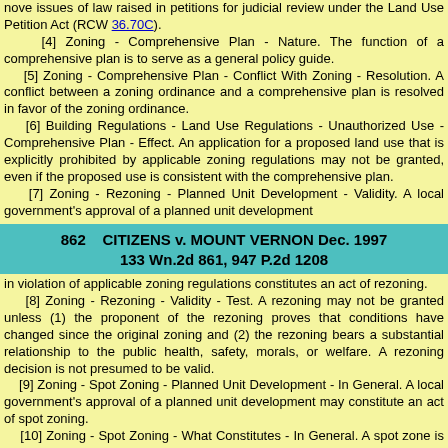nove issues of law raised in petitions for judicial review under the Land Use Petition Act (RCW 36.70C).
[4] Zoning - Comprehensive Plan - Nature. The function of a comprehensive plan is to serve as a general policy guide.
[5] Zoning - Comprehensive Plan - Conflict With Zoning - Resolution. A conflict between a zoning ordinance and a comprehensive plan is resolved in favor of the zoning ordinance.
[6] Building Regulations - Land Use Regulations - Unauthorized Use - Comprehensive Plan - Effect. An application for a proposed land use that is explicitly prohibited by applicable zoning regulations may not be granted, even if the proposed use is consistent with the comprehensive plan.
[7] Zoning - Rezoning - Planned Unit Development - Validity. A local government's approval of a planned unit development
862    CITIZENS v. MOUNT VERNON Dec. 1997
133 Wn.2d 861, 947 P.2d 1208
in violation of applicable zoning regulations constitutes an act of rezoning.
[8] Zoning - Rezoning - Validity - Test. A rezoning may not be granted unless (1) the proponent of the rezoning proves that conditions have changed since the original zoning and (2) the rezoning bears a substantial relationship to the public health, safety, morals, or welfare. A rezoning decision is not presumed to be valid.
[9] Zoning - Spot Zoning - Planned Unit Development - In General. A local government's approval of a planned unit development may constitute an act of spot zoning.
[10] Zoning - Spot Zoning - What Constitutes - In General. A spot zone is a zoning action by which a smaller area is singled out of a larger area or district and specially zoned for a use classification totally different from, and inconsistent with, the classification of surrounding land and not in accordance with the comprehensive plan for the area.
[11] Zoning - Spot Zoning - Validity - In General. Spot zoning is unlawful if it does not bear a substantial relationship to the general welfare of the affected